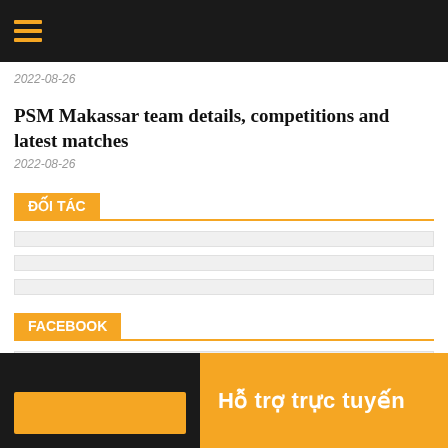[Navigation menu header bar]
2022-08-26
PSM Makassar team details, competitions and latest matches
2022-08-26
ĐỐI TÁC
FACEBOOK
Hỗ trợ trực tuyến